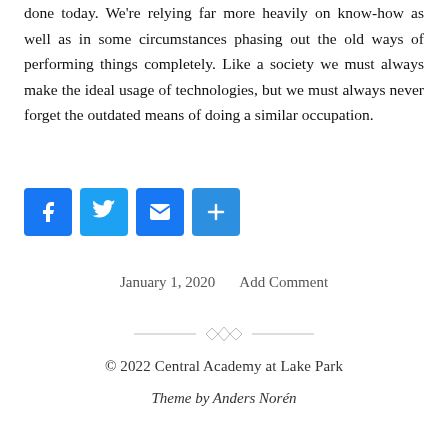done today. We're relying far more heavily on know-how as well as in some circumstances phasing out the old ways of performing things completely. Like a society we must always make the ideal usage of technologies, but we must always never forget the outdated means of doing a similar occupation.
[Figure (infographic): Social sharing buttons: Facebook (blue), Twitter (light blue), Email (blue envelope), Share (blue plus)]
January 1, 2020    Add Comment
[Figure (illustration): Decorative divider with diamond shapes]
© 2022 Central Academy at Lake Park
Theme by Anders Norén